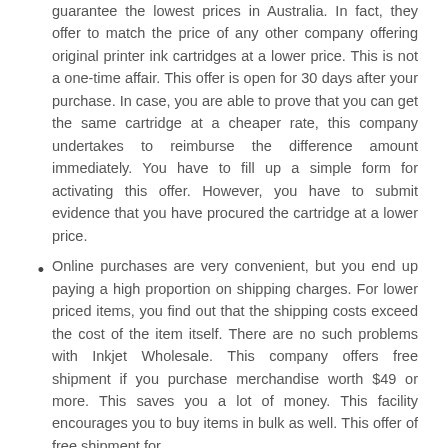guarantee the lowest prices in Australia. In fact, they offer to match the price of any other company offering original printer ink cartridges at a lower price. This is not a one-time affair. This offer is open for 30 days after your purchase. In case, you are able to prove that you can get the same cartridge at a cheaper rate, this company undertakes to reimburse the difference amount immediately. You have to fill up a simple form for activating this offer. However, you have to submit evidence that you have procured the cartridge at a lower price.
Online purchases are very convenient, but you end up paying a high proportion on shipping charges. For lower priced items, you find out that the shipping costs exceed the cost of the item itself. There are no such problems with Inkjet Wholesale. This company offers free shipment if you purchase merchandise worth $49 or more. This saves you a lot of money. This facility encourages you to buy items in bulk as well. This offer of free shipment for